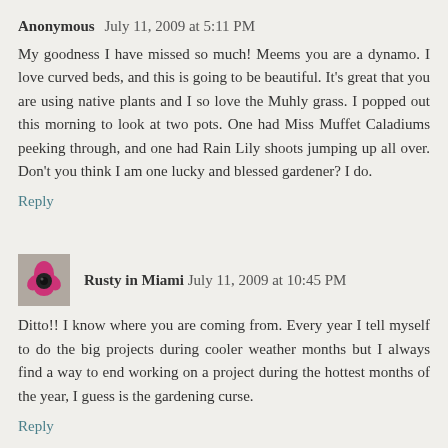Anonymous  July 11, 2009 at 5:11 PM
My goodness I have missed so much! Meems you are a dynamo. I love curved beds, and this is going to be beautiful. It's great that you are using native plants and I so love the Muhly grass. I popped out this morning to look at two pots. One had Miss Muffet Caladiums peeking through, and one had Rain Lily shoots jumping up all over. Don't you think I am one lucky and blessed gardener? I do.
Reply
Rusty in Miami  July 11, 2009 at 10:45 PM
Ditto!! I know where you are coming from. Every year I tell myself to do the big projects during cooler weather months but I always find a way to end working on a project during the hottest months of the year, I guess is the gardening curse.
Reply